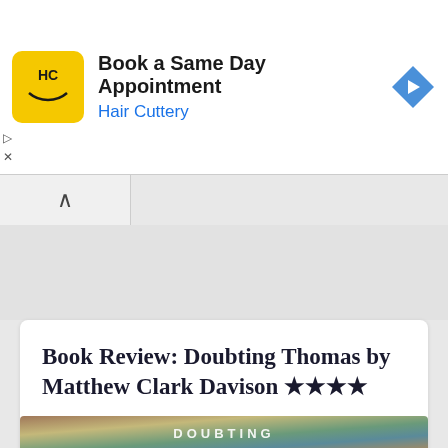[Figure (screenshot): Hair Cuttery advertisement banner with yellow HC logo, text 'Book a Same Day Appointment' and 'Hair Cuttery' in blue, and a blue diamond navigation arrow on the right]
Book Review: Doubting Thomas by Matthew Clark Davison ★★★★
[Figure (photo): Book cover image for 'Doubting Thomas' by Matthew Clark Davison showing colorful abstract/tropical imagery with the word DOUBTING visible]